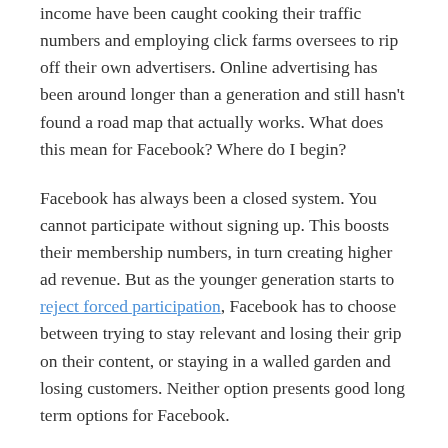income have been caught cooking their traffic numbers and employing click farms oversees to rip off their own advertisers. Online advertising has been around longer than a generation and still hasn't found a road map that actually works. What does this mean for Facebook? Where do I begin?
Facebook has always been a closed system. You cannot participate without signing up. This boosts their membership numbers, in turn creating higher ad revenue. But as the younger generation starts to reject forced participation, Facebook has to choose between trying to stay relevant and losing their grip on their content, or staying in a walled garden and losing customers. Neither option presents good long term options for Facebook.
In addition, in order to keep revenue generating customer data Facebook must continue to resort to shady practices to collect the data that they promise to their advertisers. This pisses off users. And you also can't collect data if